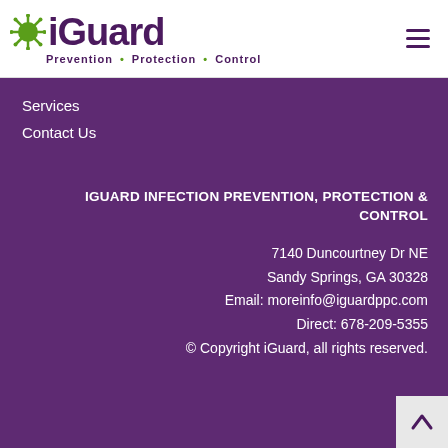[Figure (logo): iGuard logo with green virus/spore icon and purple text reading 'iGuard' with tagline 'Prevention • Protection • Control']
Services
Contact Us
IGUARD INFECTION PREVENTION, PROTECTION & CONTROL
7140 Duncourtney Dr NE
Sandy Springs, GA 30328
Email: moreinfo@iguardppc.com
Direct: 678-209-5355
© Copyright iGuard, all rights reserved.